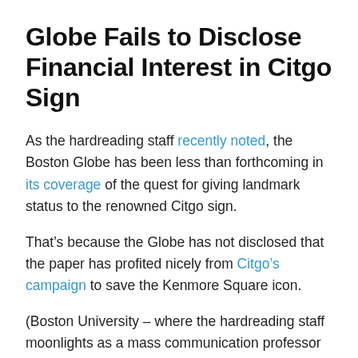Globe Fails to Disclose Financial Interest in Citgo Sign
As the hardreading staff recently noted, the Boston Globe has been less than forthcoming in its coverage of the quest for giving landmark status to the renowned Citgo sign.
That’s because the Globe has not disclosed that the paper has profited nicely from Citgo’s campaign to save the Kenmore Square icon.
(Boston University – where the hardreading staff moonlights as a mass communication professor – is looking to sell the Commonwealth Avenue building the Citgo sign sits atop.)